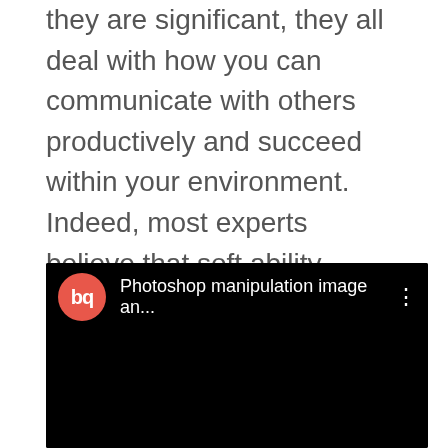they are significant, they all deal with how you can communicate with others productively and succeed within your environment. Indeed, most experts believe that soft ability professions will continue to employ people even in the age of artificial intelligence. This is how important it is to demonstrate your skills!
[Figure (screenshot): YouTube-style video embed with a black background. Header shows a red circular logo with 'bq' text in white, video title 'Photoshop manipulation image an...' in white, and a vertical three-dot menu icon. The main video area is entirely black.]